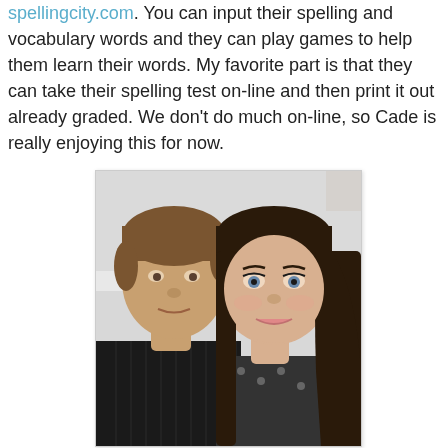spellingcity.com. You can input their spelling and vocabulary words and they can play games to help them learn their words. My favorite part is that they can take their spelling test on-line and then print it out already graded. We don't do much on-line, so Cade is really enjoying this for now.
[Figure (photo): A selfie photo of a man and a woman posing together, both smiling. The man is on the left with short brown hair wearing a dark striped shirt, and the woman is on the right with long dark hair wearing a patterned top. The background is light/white.]